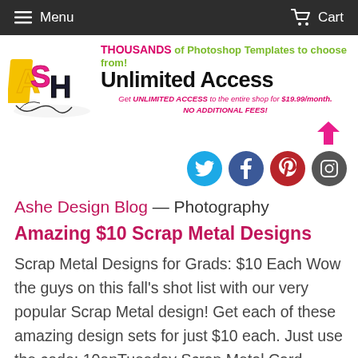Menu   Cart
[Figure (logo): ASH Design logo with colorful block letters and decorative swirls, beside banner text: THOUSANDS of Photoshop Templates to choose from! Unlimited Access. Get UNLIMITED ACCESS to the entire shop for $19.99/month. NO ADDITIONAL FEES! with pink arrow.]
[Figure (infographic): Row of four social media icons: Twitter (blue), Facebook (dark blue), Pinterest (red), Instagram (grey)]
Ashe Design Blog — Photography
Amazing $10 Scrap Metal Designs
Scrap Metal Designs for Grads: $10 Each Wow the guys on this fall's shot list with our very popular Scrap Metal design! Get each of these amazing design sets for just $10 each. Just use the code: 10onTuesday Scrap Metal Card